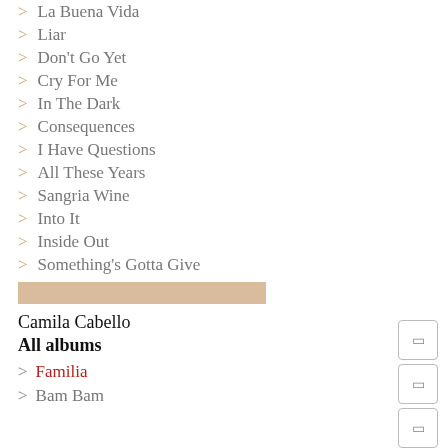> La Buena Vida
> Liar
> Don't Go Yet
> Cry For Me
> In The Dark
> Consequences
> I Have Questions
> All These Years
> Sangria Wine
> Into It
> Inside Out
> Something's Gotta Give
Camila Cabello
All albums
> Familia
> Bam Bam